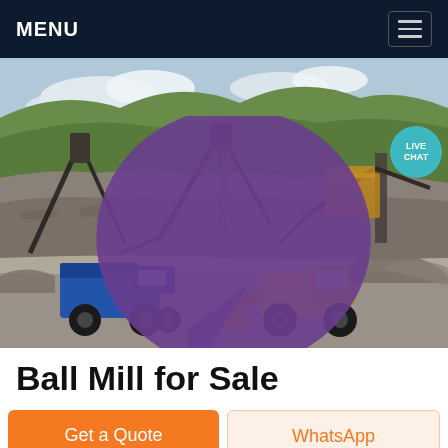MENU
[Figure (photo): Mining quarry site with conveyor belts, a blue dump truck, and a yellow front loader/bulldozer operating on a rocky terrain with green hills in the background. Live Chat bubble visible in top right corner.]
Ball Mill for Sale
Get a Quote
WhatsApp